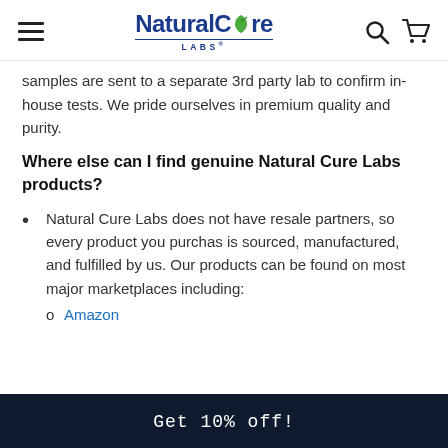NaturalCure LABS®
samples are sent to a separate 3rd party lab to confirm in-house tests. We pride ourselves in premium quality and purity.
Where else can I find genuine Natural Cure Labs products?
Natural Cure Labs does not have resale partners, so every product you purchas is sourced, manufactured, and fulfilled by us. Our products can be found on most major marketplaces including:
Amazon
Get 10% off!